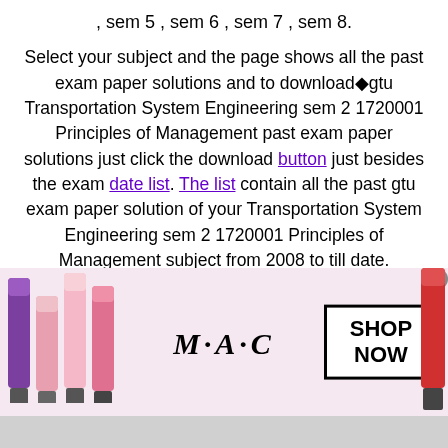, sem 5 , sem 6 , sem 7 , sem 8.
Select your subject and the page shows all the past exam paper solutions and to download◆gtu Transportation System Engineering sem 2 1720001 Principles of Management past exam paper solutions just click the download button just besides the exam date list. The list contain all the past gtu exam paper solution of your Transportation System Engineering sem 2 1720001 Principles of Management subject from 2008 to till date.
shortly the gtu exam time table forTransportation System Engineering sem 2 1720001 Principles of Management , gtu syllabus forTransportation System Engineering sem 2 1720001 Principles of
[Figure (photo): MAC cosmetics advertisement banner showing lipsticks on left and right, MAC logo in center, SHOP NOW button in a box on the right side, with a close (x) button.]